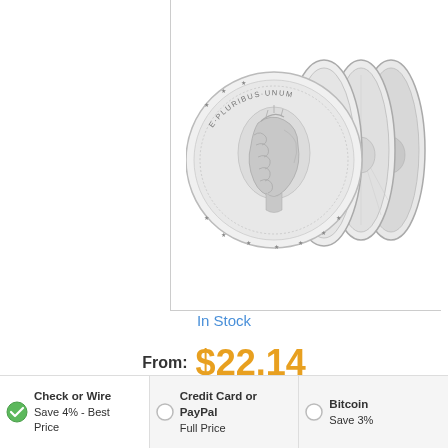[Figure (photo): Four overlapping silver coins (Morgan dollar style) with 'E PLURIBUS UNUM' text, showing profiles of Liberty]
In Stock
From: $22.14
| Check or Wire
Save 4% - Best Price | Credit Card or PayPal
Full Price | Bitcoin
Save 3% |